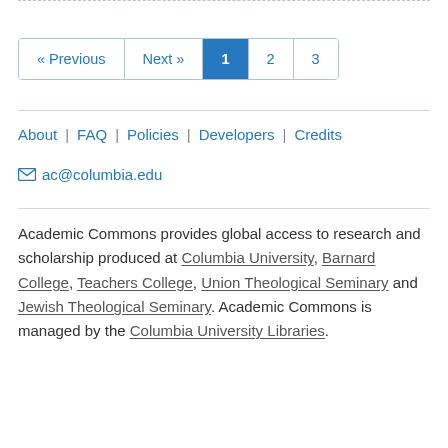[Figure (other): Pagination control with Previous, Next, page 1 (active/highlighted), page 2, page 3]
About | FAQ | Policies | Developers | Credits
✉ ac@columbia.edu
Academic Commons provides global access to research and scholarship produced at Columbia University, Barnard College, Teachers College, Union Theological Seminary and Jewish Theological Seminary. Academic Commons is managed by the Columbia University Libraries.